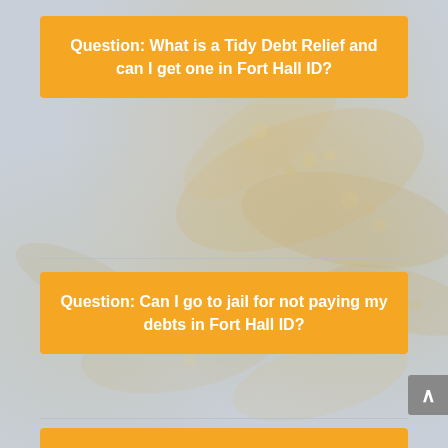Question: What is a Tidy Debt Relief and can I get one in Fort Hall ID?
Question: Can I go to jail for not paying my debts in Fort Hall ID?
Question: Can I just ignore debt collection agencies in Fort Hall ID?